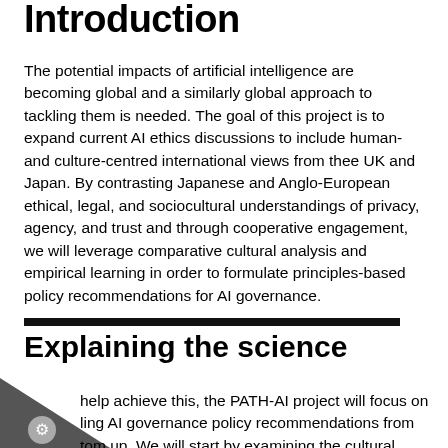Introduction
The potential impacts of artificial intelligence are becoming global and a similarly global approach to tackling them is needed. The goal of this project is to expand current AI ethics discussions to include human- and culture-centred international views from thee UK and Japan. By contrasting Japanese and Anglo-European ethical, legal, and sociocultural understandings of privacy, agency, and trust and through cooperative engagement, we will leverage comparative cultural analysis and empirical learning in order to formulate principles-based policy recommendations for AI governance.
Explaining the science
help achieve this, the PATH-AI project will focus on ling AI governance policy recommendations from tom up. We will start by examining the cultural